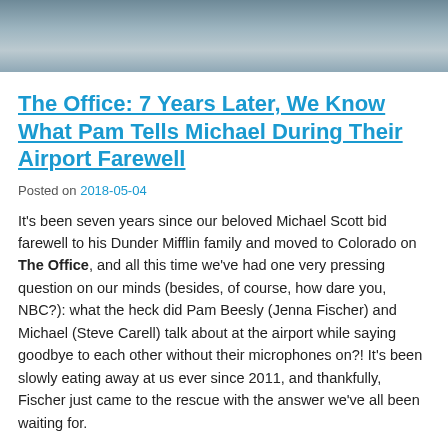[Figure (photo): A partial photo showing people in an indoor setting, cropped at the top of the page]
The Office: 7 Years Later, We Know What Pam Tells Michael During Their Airport Farewell
Posted on 2018-05-04
It’s been seven years since our beloved Michael Scott bid farewell to his Dunder Mifflin family and moved to Colorado on The Office, and all this time we’ve had one very pressing question on our minds (besides, of course, how dare you, NBC?): what the heck did Pam Beesly (Jenna Fischer) and Michael (Steve Carell) talk about at the airport while saying goodbye to each other without their microphones on?! It’s been slowly eating away at us ever since 2011, and thankfully, Fischer just came to the rescue with the answer we’ve all been waiting for.